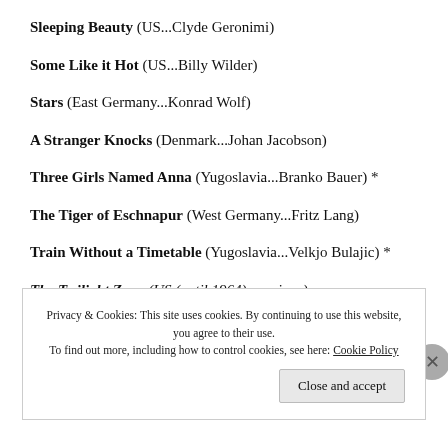Sleeping Beauty (US...Clyde Geronimi)
Some Like it Hot (US...Billy Wilder)
Stars (East Germany...Konrad Wolf)
A Stranger Knocks (Denmark...Johan Jacobson)
Three Girls Named Anna (Yugoslavia...Branko Bauer) *
The Tiger of Eschnapur (West Germany...Fritz Lang)
Train Without a Timetable (Yugoslavia...Velkjo Bulajic) *
The Twilight Zone (US (until 1964)...various)
Ung Flukt (Norway...Edith Carlmar)
Privacy & Cookies: This site uses cookies. By continuing to use this website, you agree to their use. To find out more, including how to control cookies, see here: Cookie Policy
Close and accept